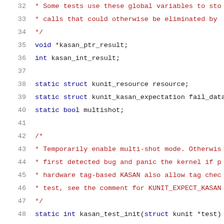[Figure (screenshot): Source code listing showing C code for KASAN kernel test initialization, lines 32-52, with syntax highlighting: line numbers in gray, keywords in dark blue, comments in dark red, strings in green.]